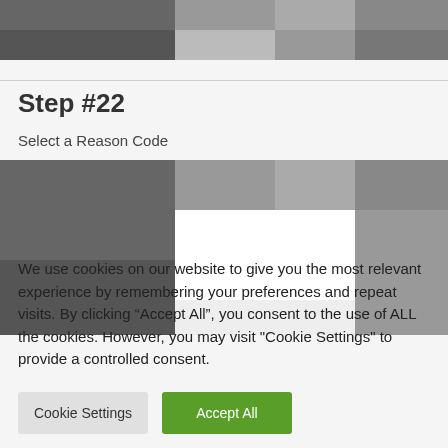[Figure (screenshot): Blurred/pixelated screenshot showing a UI with dark gray and light gray panels at the top]
Step #22
Select a Reason Code
[Figure (screenshot): Blurred/pixelated screenshot showing a UI with dark gray panel on left, white/light center area, and gray on right]
We use cookies on our website to give you the most relevant experience by remembering your preferences and repeat visits. By clicking “Accept All”, you consent to the use of ALL the cookies. However, you may visit "Cookie Settings" to provide a controlled consent.
Cookie Settings
Accept All